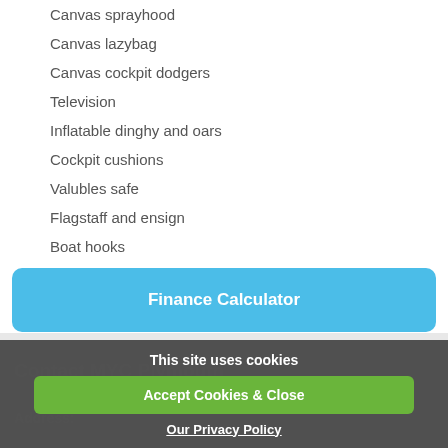Canvas sprayhood
Canvas lazybag
Canvas cockpit dodgers
Television
Inflatable dinghy and oars
Cockpit cushions
Valubles safe
Flagstaff and ensign
Boat hooks
Moorfast boat hook
Deck brushes
Finance Calculator
This site uses cookies
Accept Cookies & Close
Our Privacy Policy
Contact MYC Plymouth
Address: